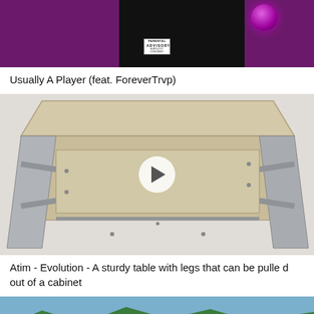[Figure (photo): Music album cover with purple/dark background and a parental advisory label]
Usually A Player (feat. ForeverTrvp)
[Figure (photo): Video thumbnail showing a sturdy table with metal legs that can be pulled out of a cabinet, with a play button overlay]
Atim - Evolution - A sturdy table with legs that can be pulled out of a cabinet
[Figure (photo): Nature scene with trees and colorful belt/rings in foreground]